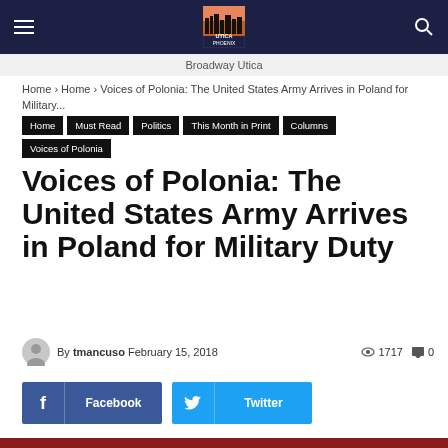Utica Phoenix — Broadway Utica
Home › Home › Voices of Polonia: The United States Army Arrives in Poland for Military...
Home
Must Read
Politics
This Month in Print
Columns
Voices of Polonia
Voices of Polonia: The United States Army Arrives in Poland for Military Duty
By tmancuso February 15, 2018 · 1717 views · 0 comments
Facebook
Twitter